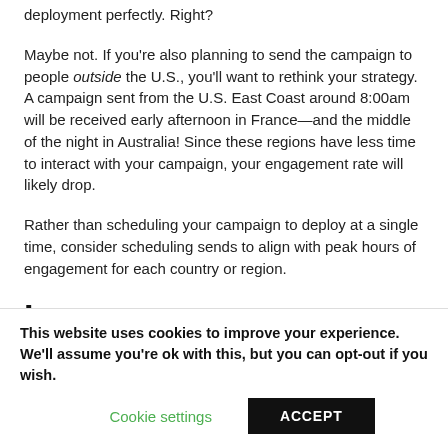deployment perfectly. Right?
Maybe not. If you're also planning to send the campaign to people outside the U.S., you'll want to rethink your strategy. A campaign sent from the U.S. East Coast around 8:00am will be received early afternoon in France—and the middle of the night in Australia! Since these regions have less time to interact with your campaign, your engagement rate will likely drop.
Rather than scheduling your campaign to deploy at a single time, consider scheduling sends to align with peak hours of engagement for each country or region.
Language
This language...
This website uses cookies to improve your experience. We'll assume you're ok with this, but you can opt-out if you wish.
Cookie settings
ACCEPT